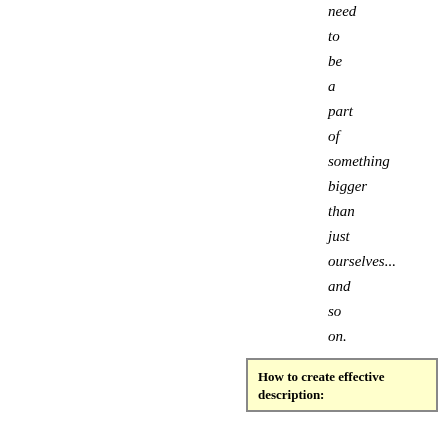need

to

be

a

part

of

something

bigger

than

just

ourselves...

and

so

on.
How to create effective description: